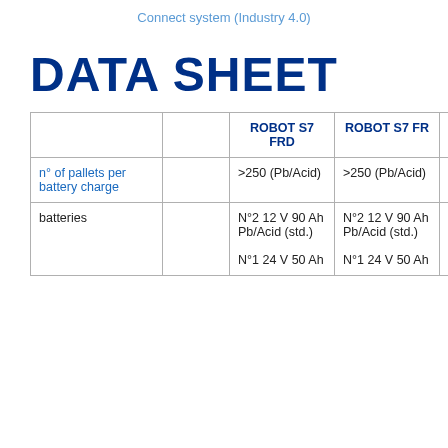Connect system (Industry 4.0)
DATA SHEET
|  |  | ROBOT S7 FRD | ROBOT S7 FR | ROBOT S7 P3GS |
| --- | --- | --- | --- | --- |
| n° of pallets per battery charge |  | >250 (Pb/Acid) | >250 (Pb/Acid) | >250 (Pb/A… |
| batteries |  | N°2 12 V 90 Ah Pb/Acid (std.) N°1 24 V 50 Ah | N°2 12 V 90 Ah Pb/Acid (std.) N°1 24 V 50 Ah | N°2 12 V 90 Pb/Acid (std.) N°1 24 V 50 Lithium (opt.) |